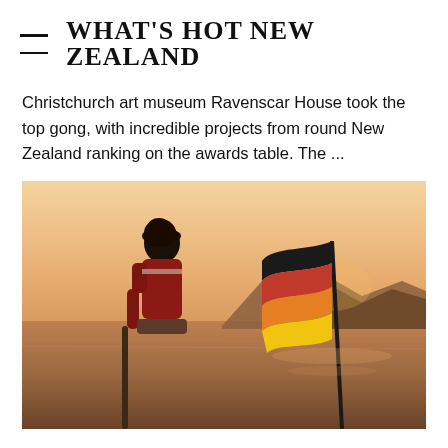WHAT'S HOT NEW ZEALAND
Christchurch art museum Ravenscar House took the top gong, with incredible projects from round New Zealand ranking on the awards table. The ...
[Figure (photo): A person with curly hair wearing a red jacket on a boat or near water, holding an oar or paddle, with a colorful flag (black, red, orange, yellow stripes) in the foreground and a warm sunset over mountains and water in the background.]